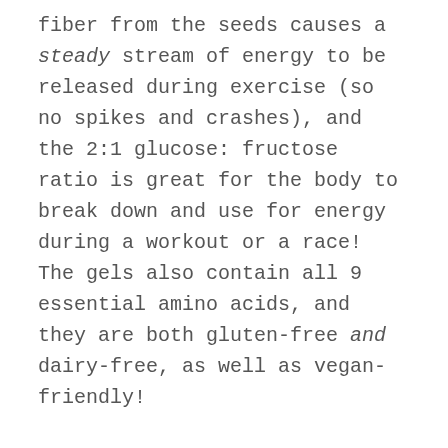fiber from the seeds causes a steady stream of energy to be released during exercise (so no spikes and crashes), and the 2:1 glucose: fructose ratio is great for the body to break down and use for energy during a workout or a race! The gels also contain all 9 essential amino acids, and they are both gluten-free and dairy-free, as well as vegan-friendly!
RECOMMENDED USE
The sugar/carbs kick and sustained energy make Huma a great choice for before or during exercise. Huma